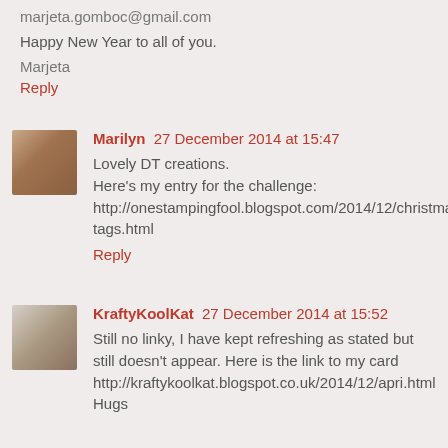marjeta.gomboc@gmail.com
Happy New Year to all of you.
Marjeta
Reply
[Figure (photo): Avatar photo of Marilyn, a woman with short dark hair]
Marilyn  27 December 2014 at 15:47
Lovely DT creations.
Here's my entry for the challenge:
http://onestampingfool.blogspot.com/2014/12/christmas-tags.html
Reply
[Figure (photo): Avatar photo of KraftyKoolKat, a person outdoors]
KraftyKoolKat  27 December 2014 at 15:52
Still no linky, I have kept refreshing as stated but still doesn't appear. Here is the link to my card http://kraftykoolkat.blogspot.co.uk/2014/12/apri.html
Hugs